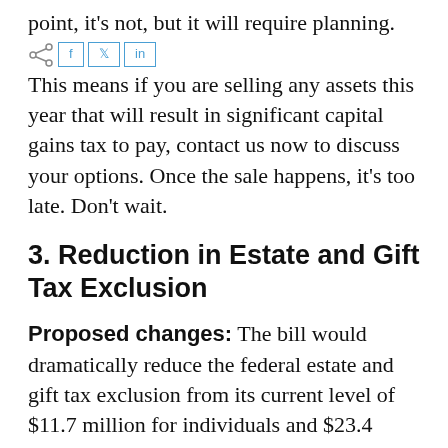point, it's not, but it will require planning.
This means if you are selling any assets this year that will result in significant capital gains tax to pay, contact us now to discuss your options. Once the sale happens, it's too late. Don't wait.
3. Reduction in Estate and Gift Tax Exclusion
Proposed changes: The bill would dramatically reduce the federal estate and gift tax exclusion from its current level of $11.7 million for individuals and $23.4 million for married couples to its 2010 level of $5